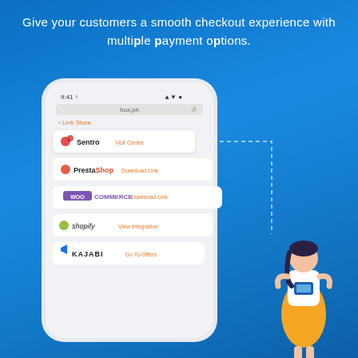Give your customers a smooth checkout experience with multiple payment options.
[Figure (screenshot): A smartphone mockup showing a 'Link Store' screen with integrations: Sentro (Visit Centre), PrestaShop (Download Link), WooCommerce (Download Link), shopify (View Integration), KAJABI (Go To Offers). A dashed line arrow connects the phone to an illustration of a woman holding a phone.]